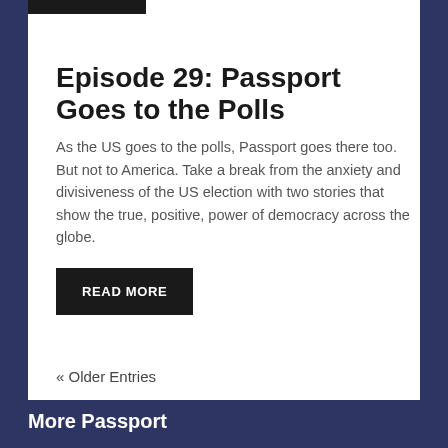Episode 29: Passport Goes to the Polls
As the US goes to the polls, Passport goes there too. But not to America. Take a break from the anxiety and divisiveness of the US election with two stories that show the true, positive, power of democracy across the globe.
READ MORE
« Older Entries
More Passport